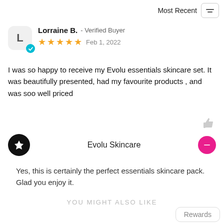Most Recent
Lorraine B. - Verified Buyer
★★★★★ Feb 1, 2022
I was so happy to receive my Evolu essentials skincare set. It was beautifully presented, had my favourite products , and was soo well priced
Evolu Skincare
Yes, this is certainly the perfect essentials skincare pack. Glad you enjoy it.
YOU MIGHT ALSO LIKE
Rewards